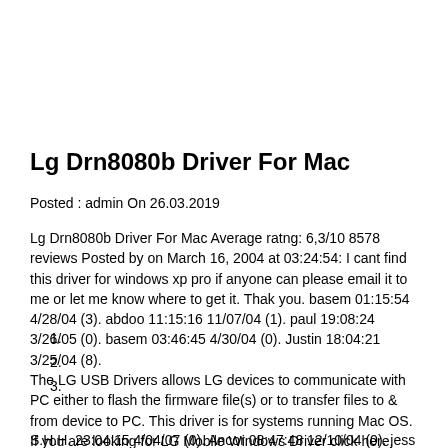Lg Drn8080b Driver For Mac
Posted : admin On 26.03.2019
Lg Drn8080b Driver For Mac Average ratng: 6,3/10 8578 reviews Posted by on March 16, 2004 at 03:24:54: I cant find this driver for windows xp pro if anyone can please email it to me or let me know where to get it. Thak you. basem 01:15:54 4/28/04 (3). abdoo 11:15:16 11/07/04 (1). paul 19:08:24 3/26/05 (0). basem 03:46:45 4/30/04 (0). Justin 18:04:21 3/25/04 (8).
1.
2.
3.
The LG USB Drivers allows LG devices to communicate with PC either to flash the firmware file(s) or to transfer files to & from device to PC. This driver is for systems running Mac OS. If you are looking for LG Mobile Windows Driver click here.
S.H.H. 23:04:15 4/04/07 (0). Ancor 08:47:48 12/10/04 (0). jess 10:03:57